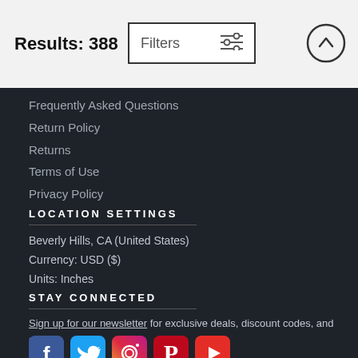Results: 388
Frequently Asked Questions
Return Policy
Returns
Terms of Use
Privacy Policy
LOCATION SETTINGS
Beverly Hills, CA (United States)
Currency: USD ($)
Units: Inches
STAY CONNECTED
Sign up for our newsletter for exclusive deals, discount codes, and more.
[Figure (illustration): Social media icons: Facebook, Twitter, Instagram, Pinterest, YouTube]